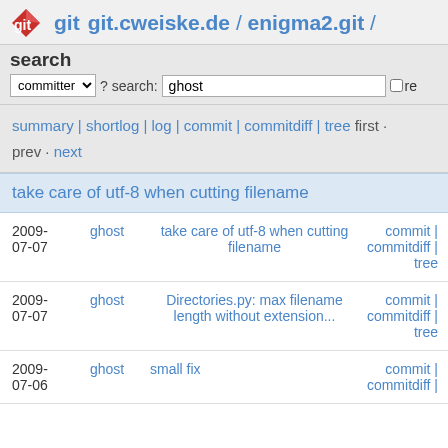git  git.cweiske.de / enigma2.git /
search committer ▾ ? search: ghost □ re
summary | shortlog | log | commit | commitdiff | tree first · prev · next
take care of utf-8 when cutting filename
| date | author | message | links |
| --- | --- | --- | --- |
| 2009-07-07 | ghost | take care of utf-8 when cutting filename | commit | commitdiff | tree |
| 2009-07-07 | ghost | Directories.py: max filename length without extension... | commit | commitdiff | tree |
| 2009-07-06 | ghost | small fix | commit | commitdiff | |